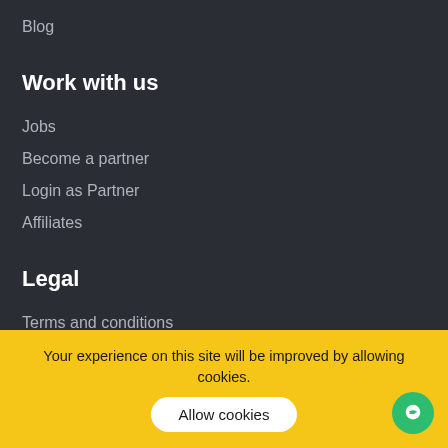Blog
Work with us
Jobs
Become a partner
Login as Partner
Affiliates
Legal
Terms and conditions
Your experience on this site will be improved by allowing cookies.
Allow cookies